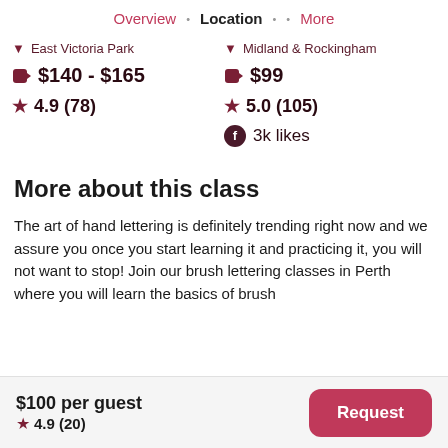Overview • Location • • More
East Victoria Park
Midland & Rockingham
$140 - $165
$99
4.9 (78)
5.0 (105)
3k likes
More about this class
The art of hand lettering is definitely trending right now and we assure you once you start learning it and practicing it, you will not want to stop! Join our brush lettering classes in Perth where you will learn the basics of brush
$100 per guest
4.9 (20)
Request